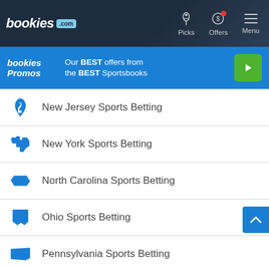bookies.com | Picks | Offers | Menu
[Figure (screenshot): bookies Promos banner: Our BEST offers from the BEST Sportsbooks with green play button]
New Jersey Sports Betting
New York Sports Betting
North Carolina Sports Betting
Ohio Sports Betting
Pennsylvania Sports Betting